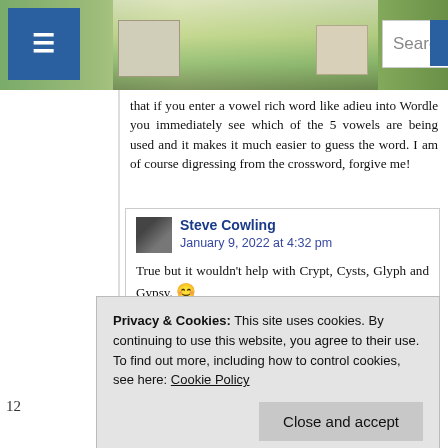Search bigdave44.c
that if you enter a vowel rich word like adieu into Wordle you immediately see which of the 5 vowels are being used and it makes it much easier to guess the word. I am of course digressing from the crossword, forgive me!
Steve Cowling
January 9, 2022 at 4:32 pm
True but it wouldn't help with Crypt, Cysts, Glyph and Gypsy. 😊
Privacy & Cookies: This site uses cookies. By continuing to use this website, you agree to their use.
To find out more, including how to control cookies, see here: Cookie Policy
Close and accept
Pleased as punch that I was able to complete unaided. Doesn't happen very often!
I'm still not certain of my answer for 13A. Can anyone